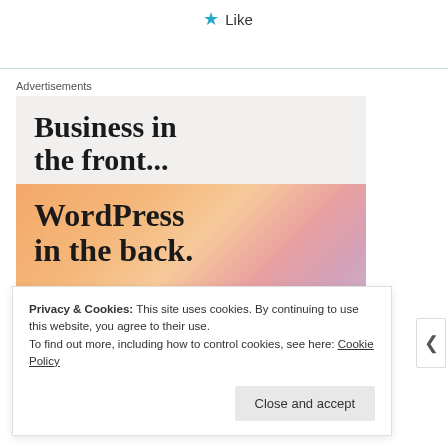Like
Advertisements
[Figure (screenshot): WordPress advertisement banner. Top section on light gray background reads 'Business in the front...' in large bold serif. Bottom section on peach/salmon gradient background reads 'WordPress in the back.' in large bold serif.]
Privacy & Cookies: This site uses cookies. By continuing to use this website, you agree to their use. To find out more, including how to control cookies, see here: Cookie Policy
Close and accept